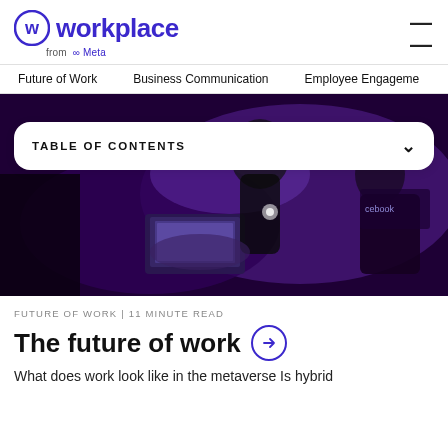workplace from Meta
Future of Work   Business Communication   Employee Engagement
[Figure (photo): People at a tech event working on laptops with purple/blue lighting, a Facebook banner visible in background]
TABLE OF CONTENTS
FUTURE OF WORK | 11 MINUTE READ
The future of work
What does work look like in the metaverse Is hybrid